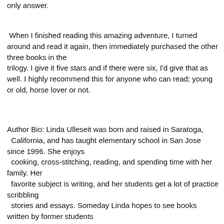only answer.
When I finished reading this amazing adventure, I turned around and read it again, then immediately purchased the other three books in the trilogy. I give it five stars and if there were six, I'd give that as well. I highly recommend this for anyone who can read; young or old, horse lover or not.
Author Bio: Linda Ulleseit was born and raised in Saratoga, California, and has taught elementary school in San Jose since 1996. She enjoys cooking, cross-stitching, reading, and spending time with her family. Her favorite subject is writing, and her students get a lot of practice scribbling stories and essays. Someday Linda hopes to see books written by former students alongside hers in bookstores.